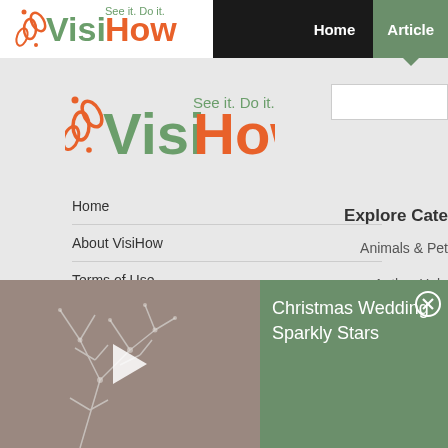[Figure (logo): VisiHow logo small in top nav bar - green Visi orange How with tagline See it. Do it.]
Home  Articles
[Figure (logo): VisiHow logo large - green Visi orange How with tagline See it. Do it.]
Home
About VisiHow
Terms of Use
Privacy Policy
Explore Cate…
Animals & Pet…
Author Help
[Figure (screenshot): Video thumbnail showing sparkly crystal/ice decorations on brownish-grey background with white play button triangle]
Christmas Wedding Sparkly Stars
Health & Well…
Home